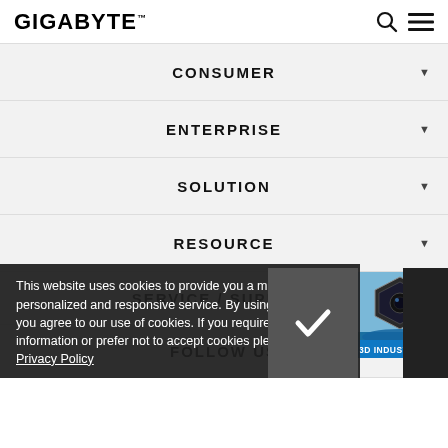GIGABYTE
CONSUMER
ENTERPRISE
SOLUTION
RESOURCE
SERVICE / SUPPORT
FOLLOW US
[Figure (screenshot): 3D INDUSTRY promotional banner in bottom right corner showing a 3D rendered industrial scene]
This website uses cookies to provide you a more personalized and responsive service. By using this website you agree to our use of cookies. If you require more information or prefer not to accept cookies please visit our Privacy Policy